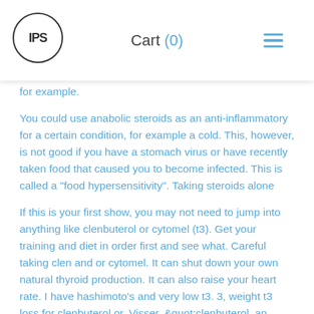IPS  Cart (0)  ☰
for example.
You could use anabolic steroids as an anti-inflammatory for a certain condition, for example a cold. This, however, is not good if you have a stomach virus or have recently taken food that caused you to become infected. This is called a "food hypersensitivity". Taking steroids alone
If this is your first show, you may not need to jump into anything like clenbuterol or cytomel (t3). Get your training and diet in order first and see what. Careful taking clen and or cytomel. It can shut down your own natural thyroid production. It can also raise your heart rate. I have hashimoto's and very low t3. 3, weight t3 loss for clenbuterol or. Visser, &quot;clenbuterol, an agent for the treatment